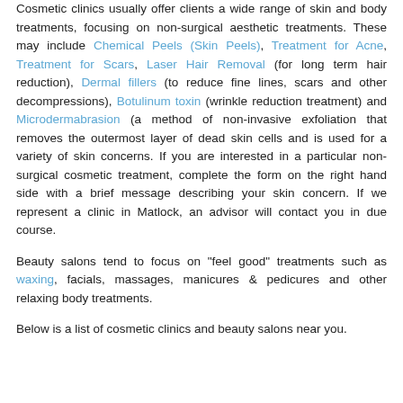Cosmetic clinics usually offer clients a wide range of skin and body treatments, focusing on non-surgical aesthetic treatments. These may include Chemical Peels (Skin Peels), Treatment for Acne, Treatment for Scars, Laser Hair Removal (for long term hair reduction), Dermal fillers (to reduce fine lines, scars and other decompressions), Botulinum toxin (wrinkle reduction treatment) and Microdermabrasion (a method of non-invasive exfoliation that removes the outermost layer of dead skin cells and is used for a variety of skin concerns. If you are interested in a particular non-surgical cosmetic treatment, complete the form on the right hand side with a brief message describing your skin concern. If we represent a clinic in Matlock, an advisor will contact you in due course.
Beauty salons tend to focus on "feel good" treatments such as waxing, facials, massages, manicures & pedicures and other relaxing body treatments.
Below is a list of cosmetic clinics and beauty salons near you.